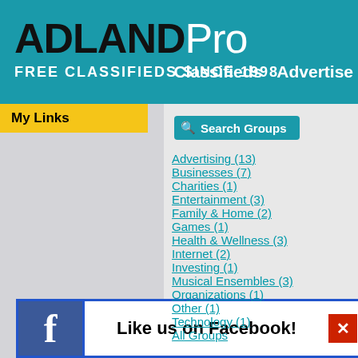ADLANDPro
FREE CLASSIFIEDS SINCE 1998
Classifieds  Advertise
My Links
Search Groups
Advertising (13)
Businesses (7)
Charities (1)
Entertainment (3)
Family & Home (2)
Games (1)
Health & Wellness (3)
Internet (2)
Investing (1)
Musical Ensembles (3)
Organizations (1)
Other (1)
Technology (1)
All Groups
Like us on Facebook!